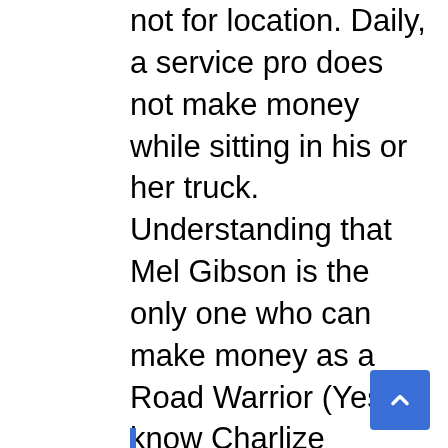not for location. Daily, a service pro does not make money while sitting in his or her truck. Understanding that Mel Gibson is the only one who can make money as a Road Warrior (Yes, I know Charlize Theron did it too and my comments do only apply to service routes), sometimes you will have to make tough decisions in order to reduce the amount of time and distance in-between customers, thus tightening your route. This comes down to basic customer management and segmentation. Identifying and eliminating customer locations that no longer make sense is essential.